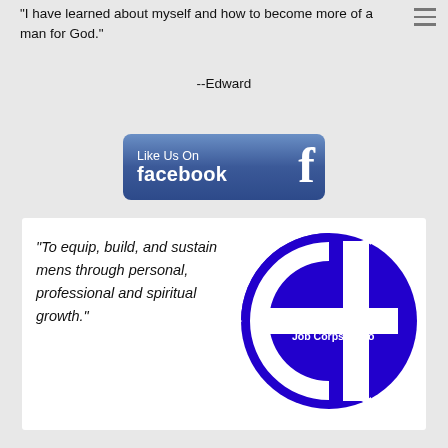"I have learned about myself and how to become more of a man for God."
--Edward
[Figure (logo): Like Us On Facebook button with Facebook logo]
[Figure (logo): Christian Men's Job Corps Waco logo - blue circle with white cross]
"To equip, build, and sustain mens through personal, professional and spiritual growth."